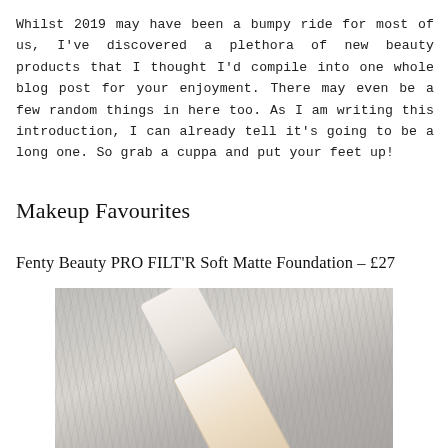Whilst 2019 may have been a bumpy ride for most of us, I've discovered a plethora of new beauty products that I thought I'd compile into one whole blog post for your enjoyment. There may even be a few random things in here too. As I am writing this introduction, I can already tell it's going to be a long one. So grab a cuppa and put your feet up!
Makeup Favourites
Fenty Beauty PRO FILT'R Soft Matte Foundation – £27
[Figure (photo): A Fenty Beauty PRO FILT'R Soft Matte Foundation bottle lying diagonally on a grey fluffy surface. The bottle has a white/cream cap and a peachy-beige body with partial text visible.]